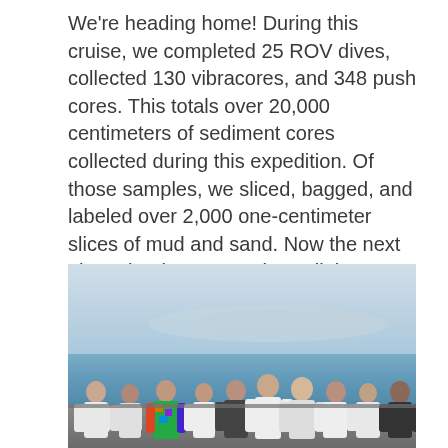We're heading home! During this cruise, we completed 25 ROV dives, collected 130 vibracores, and 348 push cores. This totals over 20,000 centimeters of sediment cores collected during this expedition. Of those samples, we sliced, bagged, and labeled over 2,000 one-centimeter slices of mud and sand. Now the next phase begins: we analyze all these samples to understand what processes are occurring in these deep-sea canyons, basins, and faults offshore Southern California.
[Figure (photo): Group photo of approximately ten researchers in white lab coats standing together on a ship deck with the ocean and a hazy coastline visible in the background. One person in the middle is wearing a colorful tie-dye shirt.]